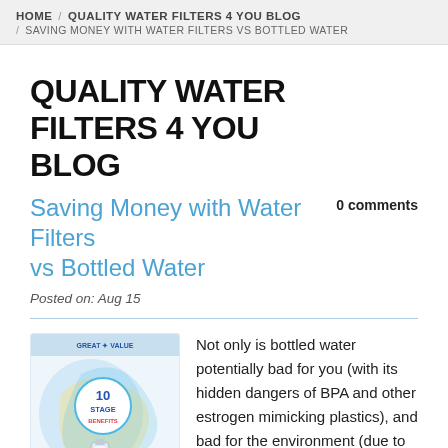HOME / QUALITY WATER FILTERS 4 YOU BLOG / SAVING MONEY WITH WATER FILTERS VS BOTTLED WATER
QUALITY WATER FILTERS 4 YOU BLOG
Saving Money with Water Filters vs Bottled Water
0 comments
Posted on: Aug 15
[Figure (photo): Product photo of a 10-stage water filter system]
Not only is bottled water potentially bad for you (with its hidden dangers of BPA and other estrogen mimicking plastics), and bad for the environment (due to its massive use of fossil fuels to move the water across the planet's surface, the polluting effects of the plastic after it is discarded, etc.), but it costs an arm and a leg also. Using a water filter to get fresh water is extremely